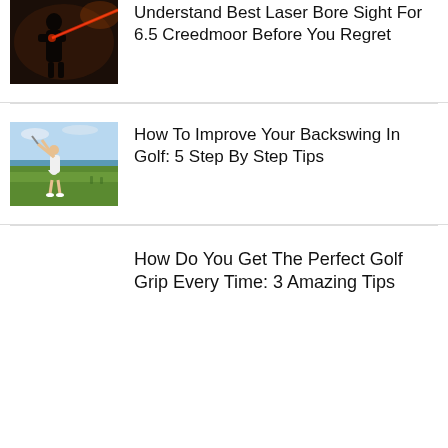[Figure (photo): Silhouette of person with red laser light in dark background]
Understand Best Laser Bore Sight For 6.5 Creedmoor Before You Regret
[Figure (photo): Woman golfer swinging club on a golf course near the ocean]
How To Improve Your Backswing In Golf: 5 Step By Step Tips
How Do You Get The Perfect Golf Grip Every Time: 3 Amazing Tips